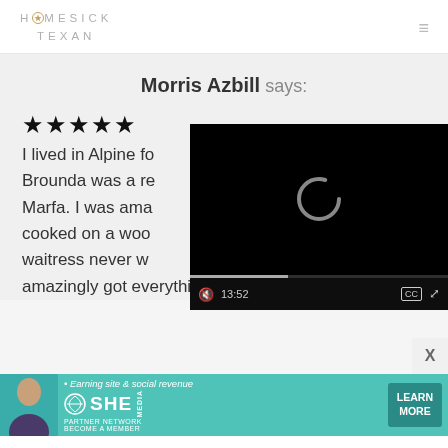HOMESICK TEXAN
Morris Azbill says:
★★★★★
I lived in Alpine fo... Brounda was a re... Marfa. I was ama... cooked on a woo... waitress never w... amazingly got everything right each time,
[Figure (screenshot): Embedded video player overlay with black background, loading spinner (C shape), progress bar, and controls showing timestamp 13:52, mute icon, CC button, and fullscreen button]
[Figure (infographic): SHE Partner Network advertisement banner with teal background, woman portrait, tagline 'Earning site & social revenue', SHE media logo, PARTNER NETWORK BECOME A MEMBER text, and LEARN MORE button]